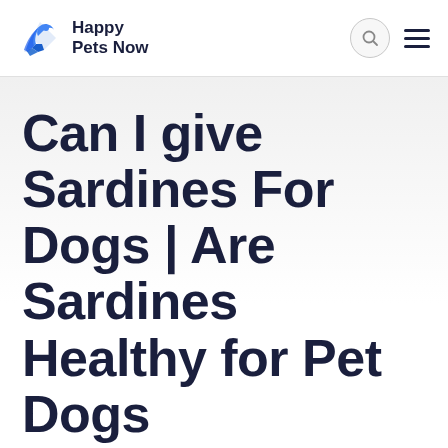Happy Pets Now
Can I give Sardines For Dogs | Are Sardines Healthy for Pet Dogs